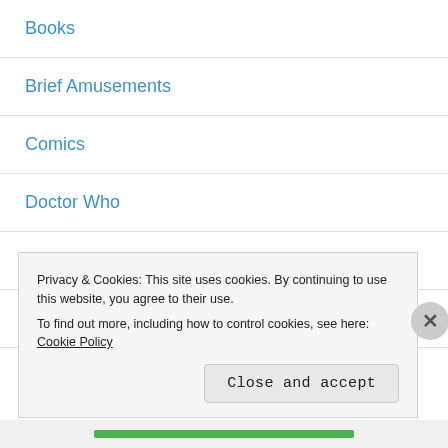Books
Brief Amusements
Comics
Doctor Who
Fiction Writing
I'm Gonna Use That in a Story Someday...
Lists
Privacy & Cookies: This site uses cookies. By continuing to use this website, you agree to their use.
To find out more, including how to control cookies, see here: Cookie Policy
Close and accept